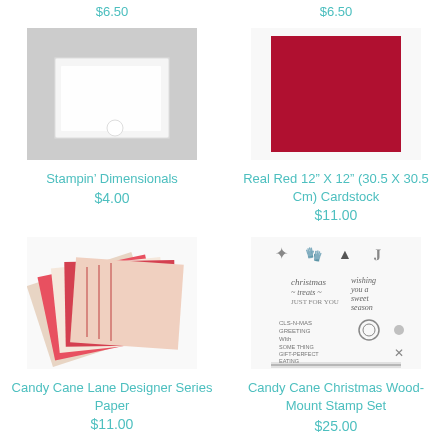$6.50
$6.50
[Figure (photo): Stampin Dimensionals product photo showing white foam adhesive squares/dots on a gray background]
[Figure (photo): Real Red 12x12 cardstock shown as a solid dark red/crimson square]
Stampin’ Dimensionals
$4.00
Real Red 12” X 12” (30.5 X 30.5 Cm) Cardstock
$11.00
[Figure (photo): Candy Cane Lane Designer Series Paper showing multiple patterned paper sheets fanned out with red, pink, cream holiday patterns]
[Figure (photo): Candy Cane Christmas Wood-Mount Stamp Set showing various holiday stamp designs including star, mitten, tree, candy cane, and text stamps]
Candy Cane Lane Designer Series Paper
$11.00
Candy Cane Christmas Wood-Mount Stamp Set
$25.00